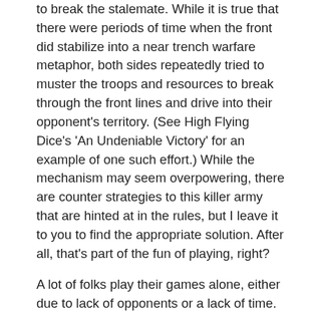to break the stalemate. While it is true that there were periods of time when the front did stabilize into a near trench warfare metaphor, both sides repeatedly tried to muster the troops and resources to break through the front lines and drive into their opponent's territory. (See High Flying Dice's 'An Undeniable Victory' for an example of one such effort.) While the mechanism may seem overpowering, there are counter strategies to this killer army that are hinted at in the rules, but I leave it to you to find the appropriate solution.  After all, that's part of the fun of playing, right?
A lot of folks play their games alone, either due to lack of opponents or a lack of time. For those players, a key metric in buying a game is how well it supports solitaire play. The bad news here is that Bloody Dawns